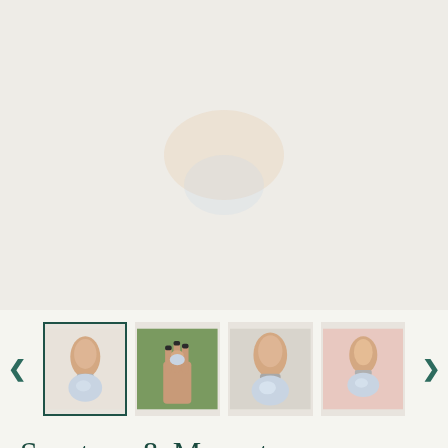[Figure (photo): Large main product image area showing a ring with peach/orange sunstone and blue moonstone stones on a light background]
[Figure (photo): Thumbnail image carousel with four product photos of a Sunstone & Moonstone ring, with left and right navigation arrows. First thumbnail is active/selected with dark green border.]
Sunstone & Moonstone